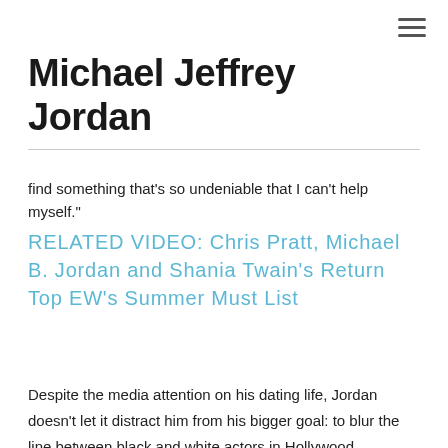Michael Jeffrey Jordan
find something that's so undeniable that I can't help myself."
RELATED VIDEO: Chris Pratt, Michael B. Jordan and Shania Twain's Return Top EW's Summer Must List
Despite the media attention on his dating life, Jordan doesn't let it distract him from his bigger goal: to blur the line between black and white actors in Hollywood.
"I told my team after I finished Chronicle" – the 2012 sleeper